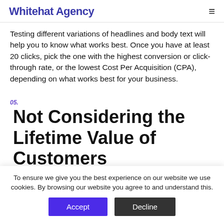Whitehat Agency
Testing different variations of headlines and body text will help you to know what works best. Once you have at least 20 clicks, pick the one with the highest conversion or click-through rate, or the lowest Cost Per Acquisition (CPA), depending on what works best for your business.
05. Not Considering the Lifetime Value of Customers
If you've never calculated the lifetime value of your
To ensure we give you the best experience on our website we use cookies. By browsing our website you agree to and understand this.